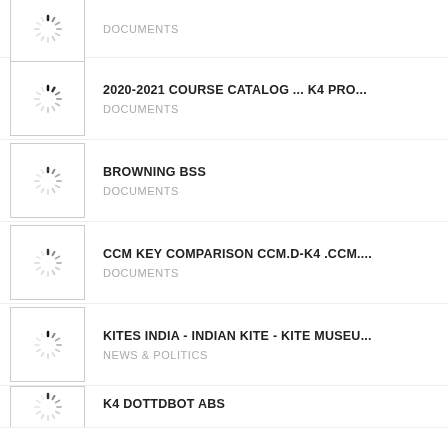DOCUMENTS
2020-2021 COURSE CATALOG ... K4 PRO...
DOCUMENTS
BROWNING BSS
DOCUMENTS
CCM KEY COMPARISON CCM.D-K4 .CCM....
DOCUMENTS
KITES INDIA - INDIAN KITE - KITE MUSEU...
NEWS & POLITICS
K4 DOTTDBOT ABS